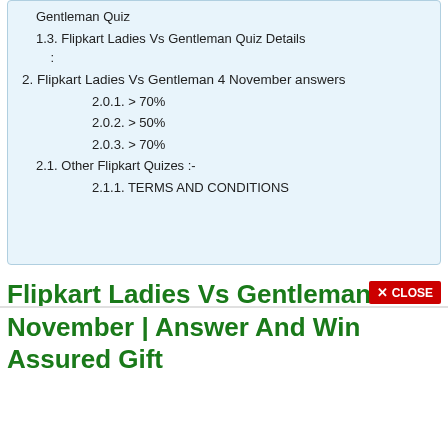Gentleman Quiz
1.3. Flipkart Ladies Vs Gentleman Quiz Details :
2. Flipkart Ladies Vs Gentleman 4 November answers
2.0.1. > 70%
2.0.2. > 50%
2.0.3. > 70%
2.1. Other Flipkart Quizes :-
2.1.1. TERMS AND CONDITIONS
Flipkart Ladies Vs Gentleman 4 November | Answer And Win Assured Gift